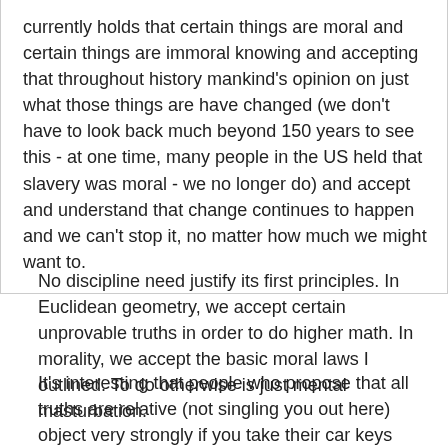currently holds that certain things are moral and certain things are immoral knowing and accepting that throughout history mankind's opinion on just what those things are have changed (we don't have to look back much beyond 150 years to see this - at one time, many people in the US held that slavery was moral - we no longer do) and accept and understand that change continues to happen and we can't stop it, no matter how much we might want to.
No discipline need justify its first principles. In Euclidean geometry, we accept certain unprovable truths in order to do higher math. In morality, we accept the basic moral laws I outlined. To do otherwise is just mental masturbation.
It's interesting that people who propose that all truths are relative (not singling you out here) object very strongly if you take their car keys without asking.